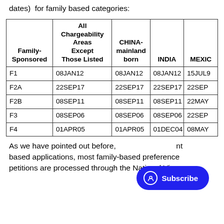dates)  for family based categories:
| Family-Sponsored | All Chargeability Areas Except Those Listed | CHINA-mainland born | INDIA | MEXICO |
| --- | --- | --- | --- | --- |
| F1 | 08JAN12 | 08JAN12 | 08JAN12 | 15JUL9… |
| F2A | 22SEP17 | 22SEP17 | 22SEP17 | 22SEP… |
| F2B | 08SEP11 | 08SEP11 | 08SEP11 | 22MAY… |
| F3 | 08SEP06 | 08SEP06 | 08SEP06 | 22SEP… |
| F4 | 01APR05 | 01APR05 | 01DEC04 | 08MAY… |
As we have pointed out before, [Subscribe] nt based applications, most family-based preference petitions are processed through the National Visa